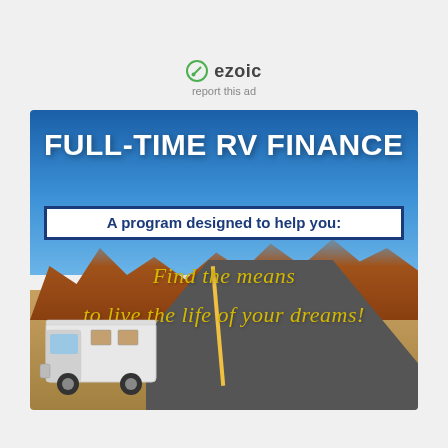[Figure (logo): Ezoic logo with green circular icon and bold 'ezoic' text]
report this ad
[Figure (photo): Advertisement banner for Full-Time RV Finance. Background shows a desert highway scene with blue sky, red rock formations, and a white RV driving on a winding road. Text overlay reads 'FULL-TIME RV FINANCE' in large bold white letters, below that a white box with blue text 'A program designed to help you:', and below in yellow italic cursive text 'Find the means to live the life of your dreams!']